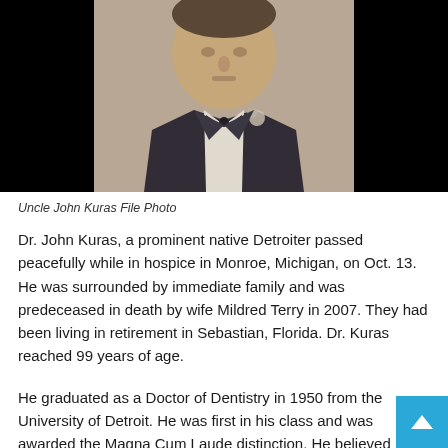[Figure (photo): Black and white or faded color photo of a man in a tuxedo with bow tie and boutonniere, likely at a formal event. The man appears elderly. Black background on left and right sides of the image.]
Uncle John Kuras File Photo
Dr. John Kuras, a prominent native Detroiter passed peacefully while in hospice in Monroe, Michigan, on Oct. 13. He was surrounded by immediate family and was predeceased in death by wife Mildred Terry in 2007. They had been living in retirement in Sebastian, Florida. Dr. Kuras reached 99 years of age.
He graduated as a Doctor of Dentistry in 1950 from the University of Detroit. He was first in his class and was awarded the Magna Cum Laude distinction. He believed strongly in continuing education. He was part of the team that did the